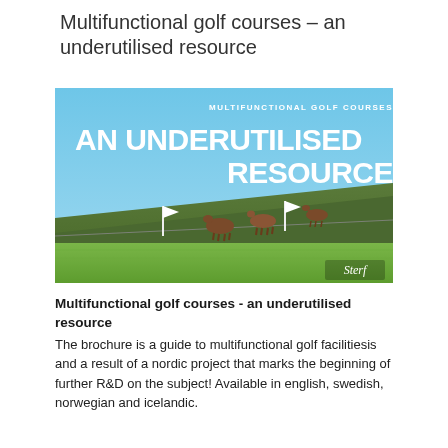Multifunctional golf courses - an underutilised resource
[Figure (illustration): Book cover for 'Multifunctional Golf Courses - An Underutilised Resource' published by Sterf. Shows a photo of horses grazing on a golf course hillside with white flags, under a blue sky. White text overlays the image.]
Multifunctional golf courses - an underutilised resource
The brochure is a guide to multifunctional golf facilitiesis and a result of a nordic project that marks the beginning of further R&D on the subject! Available in english, swedish, norwegian and icelandic.